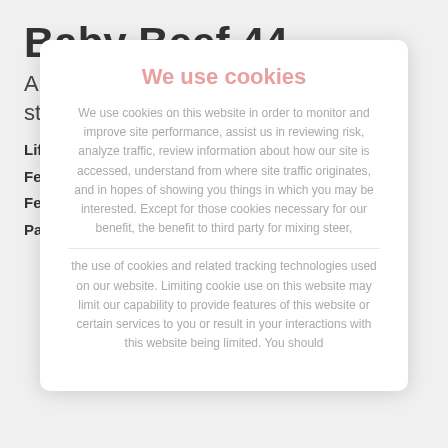Baby Beef 44
A beef cattle supplement for mixing steer, heifer, cow and bull rations.
Life Stage: Cow/Calf, Grower
Feed Type: Supplement
Feed Form: Meal, Pellet
Packaging: 50-lb bag
We use cookies
We use cookies on this website in order to monitor and improve site performance, assist us in reviewing risk, analyze traffic, review information about how our site is accessed, understand from where site traffic originates, and in hopes of showing you things in which you may be interested. Except for those cookies necessary for our benefit, the benefit to third party for mixing steer, the use of cookies and related tracking technologies used on our website. Limiting cookie use on this website may limit our capability to provide features of this website or certain services to you or result in your interactions with this website being limited. You should